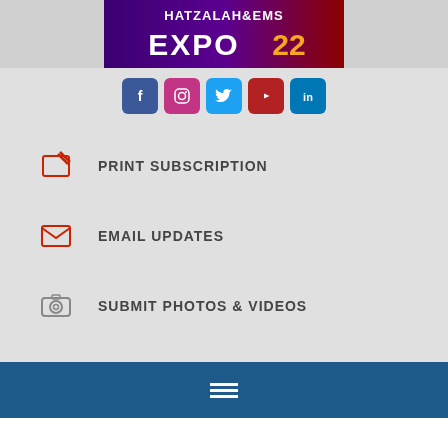[Figure (illustration): Hatzalah EMS Expo 22 banner image with event logo text on dark background]
[Figure (infographic): Row of 5 social media icons: Facebook (blue), Instagram (pink), Twitter (light blue), YouTube (dark red), LinkedIn (blue)]
PRINT SUBSCRIPTION
EMAIL UPDATES
SUBMIT PHOTOS & VIDEOS
631-776-0500
[Figure (illustration): Hamburger menu icon (three horizontal lines) on blue bar]